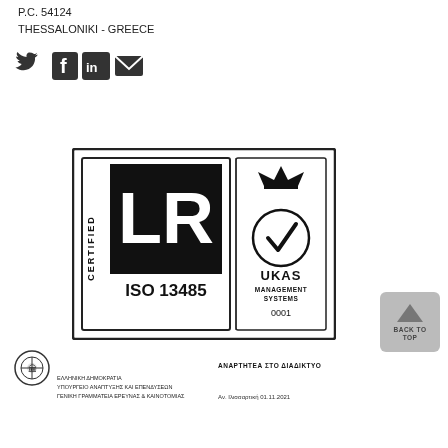P.C. 54124
THESSALONIKI - GREECE
[Figure (logo): Social media icons: Twitter, Facebook, LinkedIn, Email]
[Figure (logo): LR Certified ISO 13485 and UKAS Management Systems 0001 certification logos]
[Figure (logo): Back to top button with upward arrow]
[Figure (logo): Greek government emblem/seal]
ΑΝΑΡΤΗΤΕΑ ΣΤΟ ΔΙΑΔΙΚΤΥΟ
ΕΛΛΗΝΙΚΗ ΔΗΜΟΚΡΑΤΙΑ
ΥΠΟΥΡΓΕΙΟ ΑΝΑΠΤΥΞΗΣ ΚΑΙ ΕΠΕΝΔΥΣΕΩΝ
ΓΕΝΙΚΗ ΓΡΑΜΜΑΤΕΙΑ ΕΡΕΥΝΑΣ & ΚΑΙΝΟΤΟΜΙΑΣ